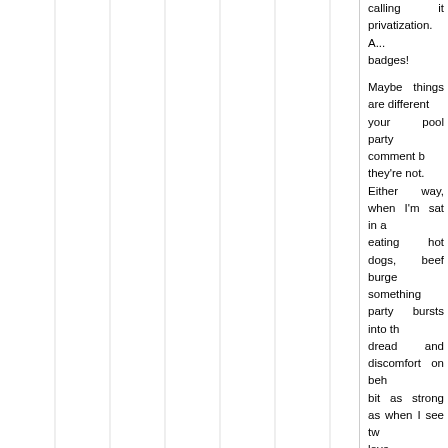calling it privatization. And badges!
Maybe things are different your pool party comment b they're not. Either way, when I'm sat in a eating hot dogs, beef burge something party bursts into th dread and discomfort on beh bit as strong as when I see tw love.
For the time being, each surprised if, when you get wh put up with your degenerate he puts up with girls acting lik
Roberto says:
2018-08-30 at 12:39
You know CR, there are s around, such as Jordan and Kings banning Domino's, e tolerated at all.
And no, the State Departme on the contrary, it shills for qu